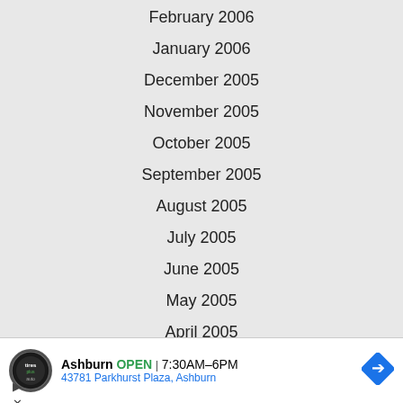February 2006
January 2006
December 2005
November 2005
October 2005
September 2005
August 2005
July 2005
June 2005
May 2005
April 2005
March 2005
February 2005
[Figure (infographic): Advertisement for Tires Plus Auto in Ashburn showing OPEN 7:30AM-6PM and address 43781 Parkhurst Plaza, Ashburn with navigation arrow icon]